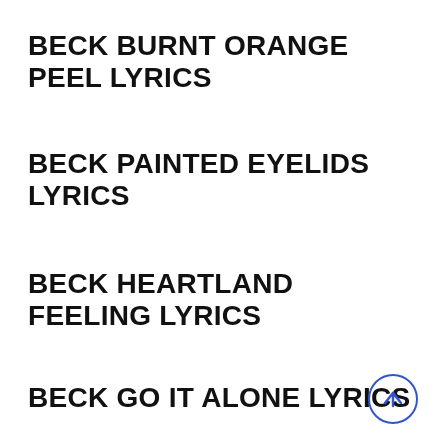BECK BURNT ORANGE PEEL LYRICS
BECK PAINTED EYELIDS LYRICS
BECK HEARTLAND FEELING LYRICS
BECK GO IT ALONE LYRICS